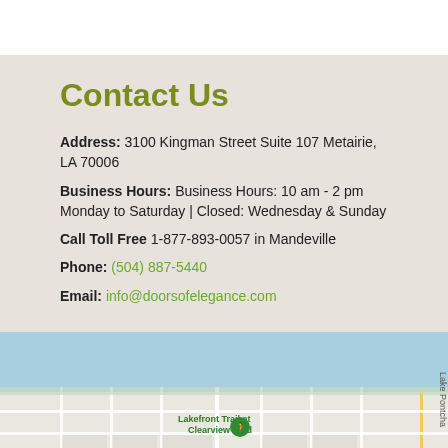Contact Us
Address: 3100 Kingman Street Suite 107 Metairie, LA 70006
Business Hours: Business Hours: 10 am - 2 pm Monday to Saturday | Closed: Wednesday & Sunday
Call Toll Free 1-877-893-0057 in Mandeville
Phone: (504) 887-5440
Email: info@doorsofelegance.com
[Figure (map): Google Maps view showing Lakefront Trail at Clearview Blvd area near Lake Pontchartrain in Metairie, LA]